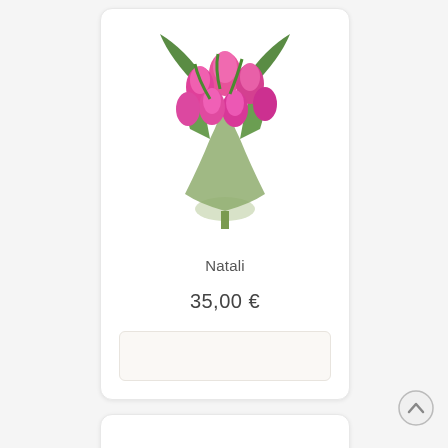[Figure (photo): Pink tulip bouquet wrapped in green paper/leaves, product card image]
Natali
35,00 €
[Figure (photo): Bouquet of red roses and white lilies wrapped in green netting, partially visible product card at bottom of page]